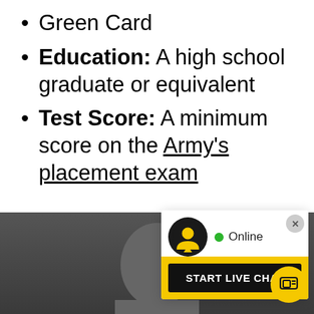Green Card
Education: A high school graduate or equivalent
Test Score: A minimum score on the Army's placement exam
[Figure (screenshot): Live chat widget popup showing an avatar icon, Online status with green dot, yellow background section, and START LIVE CHAT black button. A floating chat button appears at bottom right.]
[Figure (photo): Partial view of a person's head/face at the bottom of the page against a dark background.]